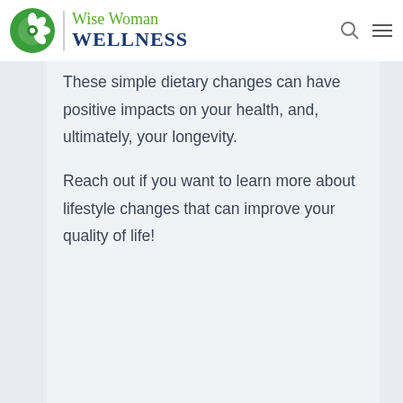Wise Woman WELLNESS
These simple dietary changes can have positive impacts on your health, and, ultimately, your longevity.
Reach out if you want to learn more about lifestyle changes that can improve your quality of life!